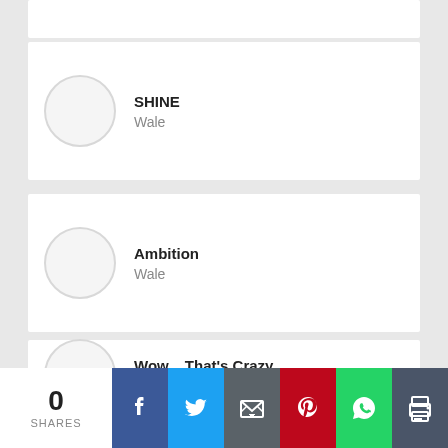SHINE — Wale
Ambition — Wale
Wow... That's Crazy — Wale
The Gifted
0 SHARES